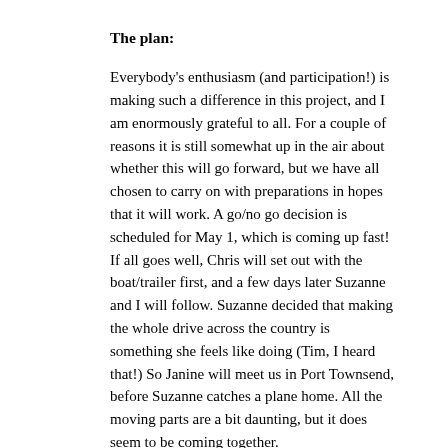The plan:
Everybody's enthusiasm (and participation!) is making such a difference in this project, and I am enormously grateful to all. For a couple of reasons it is still somewhat up in the air about whether this will go forward, but we have all chosen to carry on with preparations in hopes that it will work. A go/no go decision is scheduled for May 1, which is coming up fast! If all goes well, Chris will set out with the boat/trailer first, and a few days later Suzanne and I will follow. Suzanne decided that making the whole drive across the country is something she feels like doing (Tim, I heard that!) So Janine will meet us in Port Townsend, before Suzanne catches a plane home. All the moving parts are a bit daunting, but it does seem to be coming together.